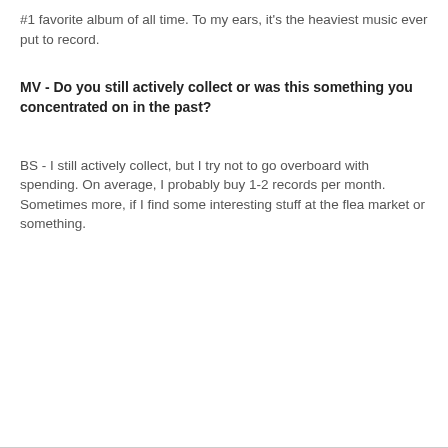#1 favorite album of all time.  To my ears, it's the heaviest music ever put to record.
MV - Do you still actively collect or was this something you concentrated on in the past?
BS - I still actively collect, but I try not to go overboard with spending.  On average, I probably buy 1-2 records per month.  Sometimes more, if I find some interesting stuff at the flea market or something.